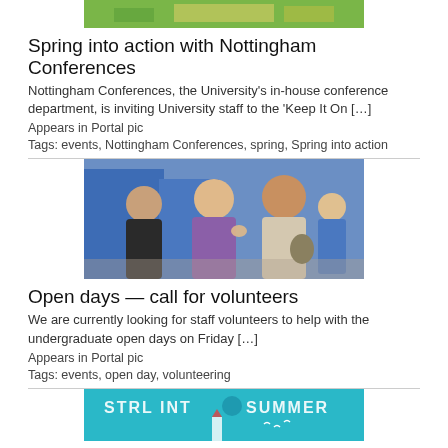[Figure (photo): Partial image of a summer/garden themed banner at the top of the page]
Spring into action with Nottingham Conferences
Nottingham Conferences, the University's in-house conference department, is inviting University staff to the ‘Keep It On […]
Appears in Portal pic
Tags: events, Nottingham Conferences, spring, Spring into action
[Figure (photo): Photo of people talking at an open day event, with blue portable toilet blocks in the background and a person in a blue volunteer t-shirt]
Open days — call for volunteers
We are currently looking for staff volunteers to help with the undergraduate open days on Friday […]
Appears in Portal pic
Tags: events, open day, volunteering
[Figure (photo): Partial image of a summer-themed banner with text 'STRL INTO SUMMER' and a lighthouse graphic]